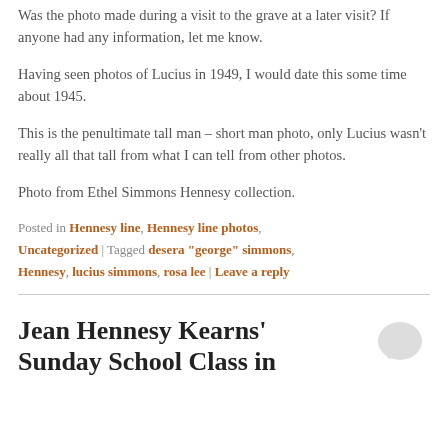Was the photo made during a visit to the grave at a later visit? If anyone had any information, let me know.
Having seen photos of Lucius in 1949, I would date this some time about 1945.
This is the penultimate tall man – short man photo, only Lucius wasn't really all that tall from what I can tell from other photos.
Photo from Ethel Simmons Hennesy collection.
Posted in Hennesy line, Hennesy line photos, Uncategorized | Tagged desera "george" simmons, Hennesy, lucius simmons, rosa lee | Leave a reply
Jean Hennesy Kearns' Sunday School Class in